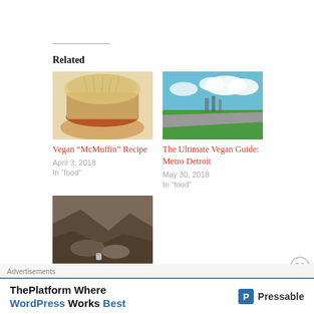Related
[Figure (photo): Photo of a vegan burger/sandwich with sprouts on a white plate]
Vegan “McMuffin” Recipe
April 3, 2018
In “food”
[Figure (photo): Aerial photo of Metro Detroit with green trees and highway]
The Ultimate Vegan Guide: Metro Detroit
May 30, 2018
In “food”
[Figure (photo): Photo of rocky mountain/Edinburgh landscape with small object]
The Ultimate Vegan Guide: Edinburgh
Advertisements
[Figure (logo): Pressable advertisement: ThePlatform Where WordPress Works Best]